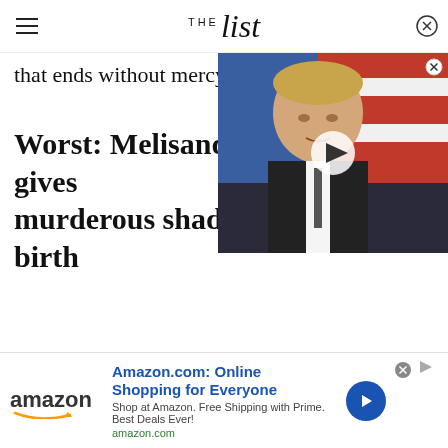THE list
that ends without mercy.
Worst: Melisandre gi... murderous shadow b...
[Figure (screenshot): Video thumbnail showing a man in a suit against flags background, with a play button overlay and close button]
[Figure (infographic): Amazon advertisement banner with amazon logo, text 'Amazon.com: Online Shopping for Everyone', 'Shop at Amazon. Free Shipping with Prime. Best Deals Ever!', 'amazon.com', and a blue arrow CTA button]